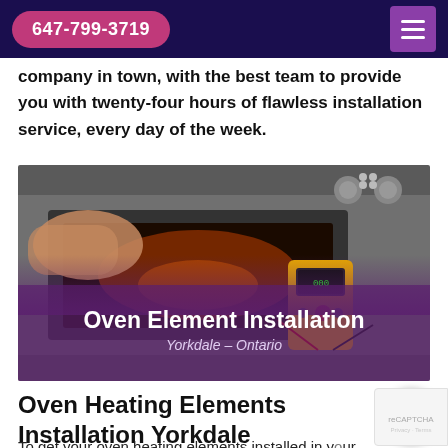647-799-3719
company in town, with the best team to provide you with twenty-four hours of flawless installation service, every day of the week.
[Figure (photo): A technician using a multimeter to test an oven heating element. The image shows hands holding a yellow multimeter near an open oven door. Text overlay reads 'Oven Element Installation' and 'Yorkdale – Ontario'.]
Oven Heating Elements Installation Yorkdale
To get your oven heating elements installed in your